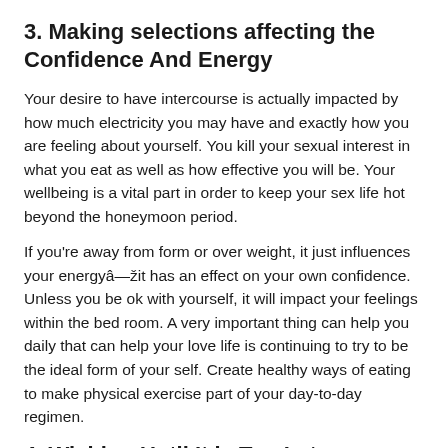3. Making selections affecting the Confidence And Energy
Your desire to have intercourse is actually impacted by how much electricity you may have and exactly how you are feeling about yourself. You kill your sexual interest in what you eat as well as how effective you will be. Your wellbeing is a vital part in order to keep your sex life hot beyond the honeymoon period.
If you're away from form or over weight, it just influences your energyâžit has an effect on your own confidence. Unless you be ok with yourself, it will impact your feelings within the bed room. A very important thing can help you daily that can help your love life is continuing to try to be the ideal form of your self. Create healthy ways of eating to make physical exercise part of your day-to-day regimen.
4. Wishing Until It is Too Late
Practically, the two of you need sleep. Additionally there is something of time, and this can be compounded for those who have